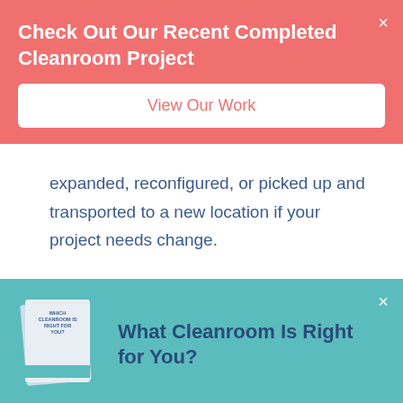Check Out Our Recent Completed Cleanroom Project
View Our Work
expanded, reconfigured, or picked up and transported to a new location if your project needs change.
What Cleanroom Is Right for You?
Take Our Quiz